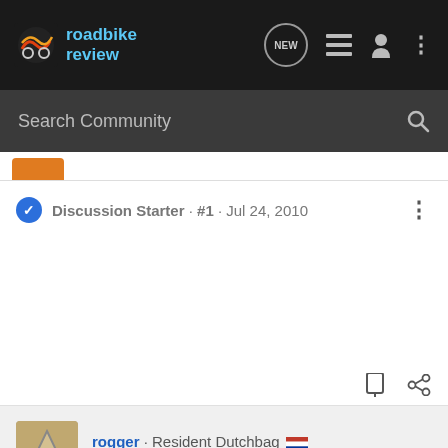roadbike review
Search Community
Discussion Starter · #1 · Jul 24, 2010
rogger · Resident Dutchbag
Joined Aug 19, 2005 · 11,864 Posts
#2 · Jul 24, 2010